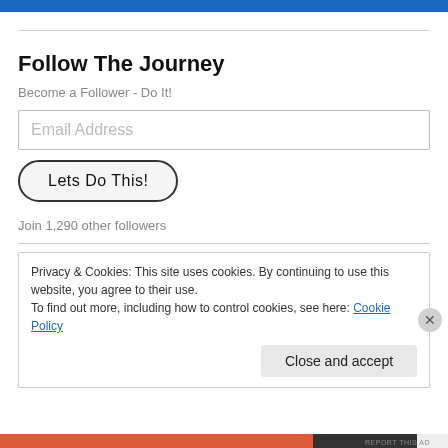Follow The Journey
Become a Follower - Do It!
Email Address
Lets Do This!
Join 1,290 other followers
Privacy & Cookies: This site uses cookies. By continuing to use this website, you agree to their use.
To find out more, including how to control cookies, see here: Cookie Policy
Close and accept